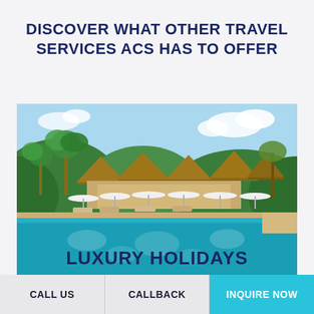DISCOVER WHAT OTHER TRAVEL SERVICES ACS HAS TO OFFER
[Figure (photo): Luxury tropical resort with thatched-roof bungalows, white beach umbrellas, lounge chairs, palm trees, lush green hillside, and a large turquoise swimming pool in the foreground]
LUXURY HOLIDAYS
CALL US | CALLBACK | INQUIRE NOW